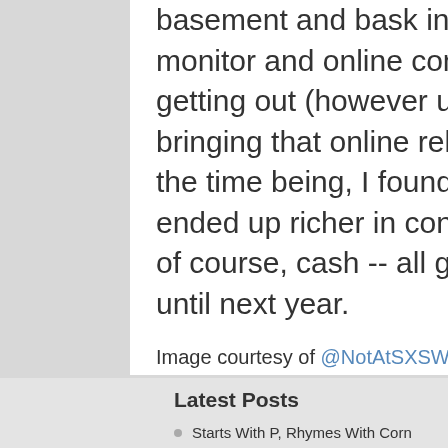basement and bask in the glow of their computer monitor and online connections. I'm a big proponent of getting out (however uncomfortable it may be) and bringing that online relationship to life, offline. But, for the time being, I found that by "not" attending SXSW, I ended up richer in connections, ideas, inspiration and, of course, cash -- all great resources I can bank upon until next year.
Image courtesy of @NotAtSXSW
Read More
Latest Posts
Starts With P, Rhymes With Corn